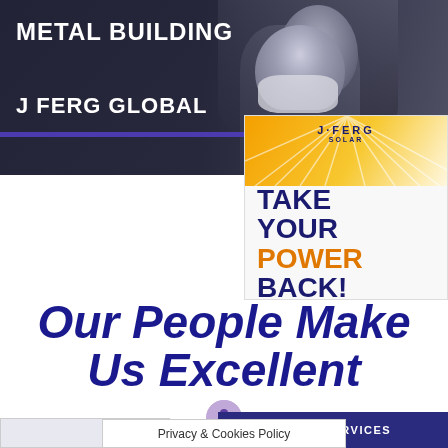[Figure (photo): Dark photo banner showing two people, one leaning over in upper portion and one wearing a mask in lower portion. Text overlay reads METAL BUILDING and J FERG GLOBAL.]
METAL BUILDING
J FERG GLOBAL
[Figure (infographic): Advertisement box with orange sunburst and J FERG SOLAR logo. Text reads TAKE YOUR POWER BACK! with POWER in orange.]
Our People Make Us Excellent
[Figure (logo): Faint J FERG circular logo watermark at bottom center]
JFERG SERVICES
Privacy & Cookies Policy